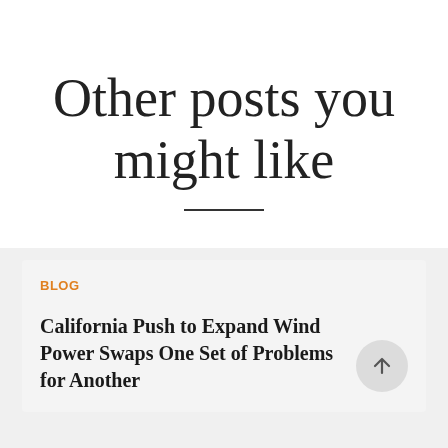Other posts you might like
BLOG
California Push to Expand Wind Power Swaps One Set of Problems for Another